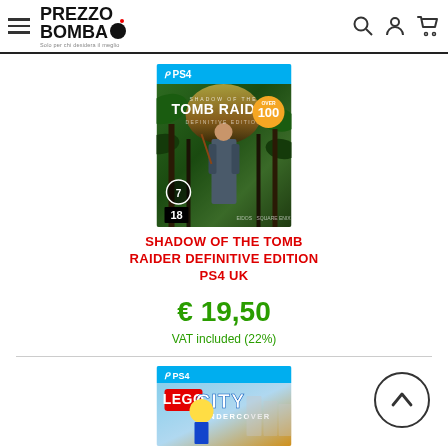PrezzoBomba - Solo per chi desidera il meglio
[Figure (photo): Shadow of the Tomb Raider Definitive Edition PS4 UK game cover art showing Lara Croft in jungle environment with PS4 banner, age rating 18, and Square Enix publisher logo]
SHADOW OF THE TOMB RAIDER DEFINITIVE EDITION PS4 UK
€ 19,50
VAT included (22%)
[Figure (photo): LEGO City Undercover PS4 game cover art showing LEGO police character with city background and PS4 banner]